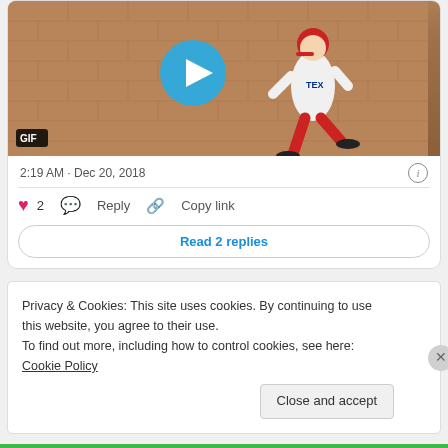[Figure (screenshot): Screenshot of a social media post with a GIF of a Texas Rangers baseball player running. A blue play button circle is overlaid in the center, and a 'GIF' badge appears in the bottom-left corner of the image.]
2:19 AM · Dec 20, 2018
♥ 2   💬 Reply   🔗 Copy link
Read 2 replies
Privacy & Cookies: This site uses cookies. By continuing to use this website, you agree to their use.
To find out more, including how to control cookies, see here: Cookie Policy
Close and accept